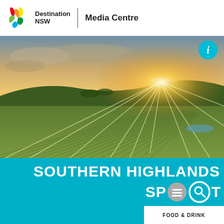Destination NSW | Media Centre
[Figure (photo): Aerial drone photo of vineyard rows at golden sunset with sun rays bursting over hills in Southern Highlands, NSW]
SOUTHERN HIGHLANDS SPECIAL
FOOD & DRINK